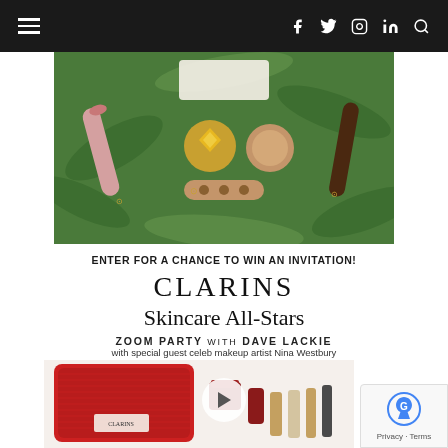Navigation bar with hamburger menu and social icons (f, twitter, instagram, linkedin, search)
[Figure (photo): Overhead flat-lay of Charlotte Tilbury beauty products arranged on tropical green leaf background — lipsticks, face creams, palettes, brushes]
ENTER FOR A CHANCE TO WIN AN INVITATION!
CLARINS
Skincare All-Stars
ZOOM PARTY WITH DAVE LACKIE
with special guest celeb makeup artist Nina Westbury
[Figure (photo): Red Clarins cosmetics bag with skincare products — creams, mascara, foundation tubes]
Privacy · Terms